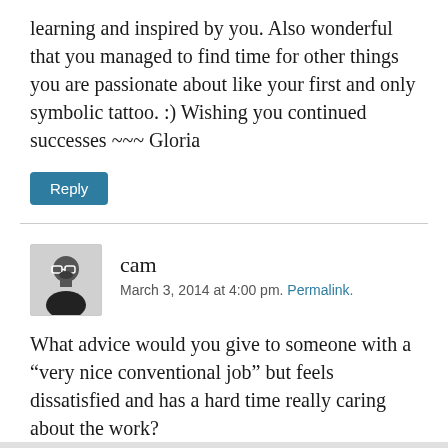learning and inspired by you. Also wonderful that you managed to find time for other things you are passionate about like your first and only symbolic tattoo. :) Wishing you continued successes ~~~ Gloria
Reply
cam
March 3, 2014 at 4:00 pm. Permalink.
What advice would you give to someone with a “very nice conventional job” but feels dissatisfied and has a hard time really caring about the work?
Reply